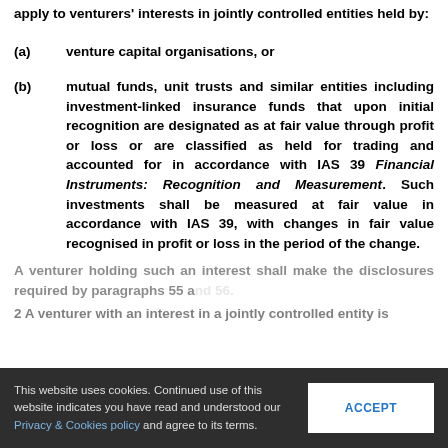apply to venturers' interests in jointly controlled entities held by:
(a)    venture capital organisations, or
(b)    mutual funds, unit trusts and similar entities including investment-linked insurance funds that upon initial recognition are designated as at fair value through profit or loss or are classified as held for trading and accounted for in accordance with IAS 39 Financial Instruments: Recognition and Measurement. Such investments shall be measured at fair value in accordance with IAS 39, with changes in fair value recognised in profit or loss in the period of the change.
A venturer holding such an interest shall make the disclosures required by paragraphs 55 and 56.
2 A venturer with an interest in a jointly controlled entity is exempted from paragraphs 30 (proportionate